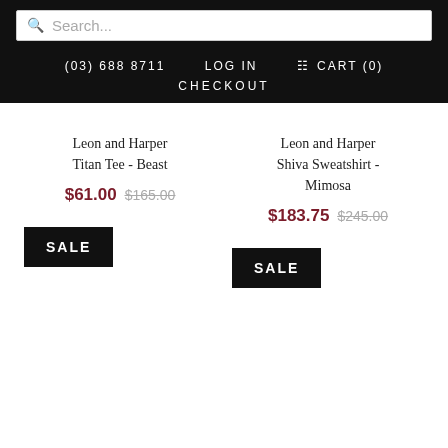Search... | (03) 688 8711 | LOG IN | CART (0) | CHECKOUT
Leon and Harper Titan Tee - Beast
$61.00 $165.00
SALE
Leon and Harper Shiva Sweatshirt - Mimosa
$183.75 $245.00
SALE